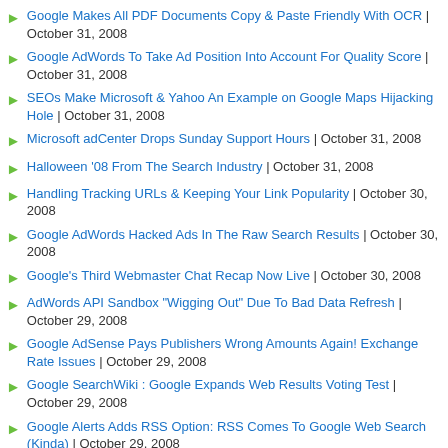Google Makes All PDF Documents Copy & Paste Friendly With OCR | October 31, 2008
Google AdWords To Take Ad Position Into Account For Quality Score | October 31, 2008
SEOs Make Microsoft & Yahoo An Example on Google Maps Hijacking Hole | October 31, 2008
Microsoft adCenter Drops Sunday Support Hours | October 31, 2008
Halloween '08 From The Search Industry | October 31, 2008
Handling Tracking URLs & Keeping Your Link Popularity | October 30, 2008
Google AdWords Hacked Ads In The Raw Search Results | October 30, 2008
Google's Third Webmaster Chat Recap Now Live | October 30, 2008
AdWords API Sandbox "Wigging Out" Due To Bad Data Refresh | October 29, 2008
Google AdSense Pays Publishers Wrong Amounts Again! Exchange Rate Issues | October 29, 2008
Google SearchWiki : Google Expands Web Results Voting Test | October 29, 2008
Google Alerts Adds RSS Option: RSS Comes To Google Web Search (Kinda) | October 29, 2008
Google Can Process More Than a 100 Links Per Page | October 29, 2008
Which Is Your Worst Performing Google AdSense Unit? | October 28, 2008
How To Handle Redirecting default.asp in IIS? Duplicate Content | October 28, 2008
Google AdSense Testing Coupon Ads? | October 28, 2008
What Type of Degree Is Best for an SEO or SEM? | October 28, 2008